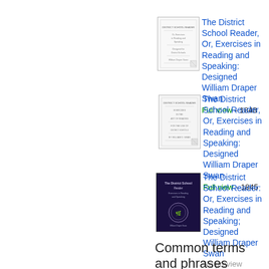[Figure (illustration): Thumbnail image of book title page (white/aged paper), first entry]
The District School Reader, Or, Exercises in Reading and Speaking: Designed William Draper Swan
Full view - 1848
[Figure (illustration): Thumbnail image of book title page (white/aged paper), second entry]
The District School Reader, Or, Exercises in Reading and Speaking: Designed William Draper Swan
Full view - 1845
[Figure (illustration): Thumbnail image of dark book cover with wreath emblem, third entry]
The District School Reader: Or, Exercises in Reading and Speaking; Designed William Draper Swan
No preview available - 2016
Common terms and phrases